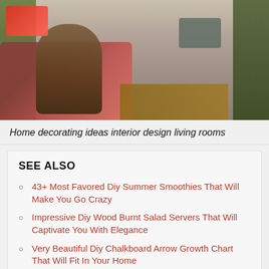[Figure (photo): Interior photo of a living room with people sitting on a red couch, a wooden coffee table, warm earthy tones.]
Home decorating ideas interior design living rooms
SEE ALSO
43+ Most Favored Diy Summer Smoothies That Will Make You Go Crazy
Impressive Diy Wood Burnt Salad Servers That Will Captivate You With Elegance
Very Beautiful Diy Chalkboard Arrow Growth Chart That Will Fit In Your Home
32 Fantastic Modern Art Prints Vontrueba That Are Simply Flawless